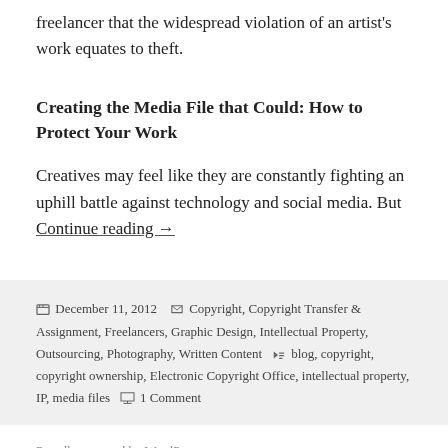freelancer that the widespread violation of an artist's work equates to theft.
Creating the Media File that Could: How to Protect Your Work
Creatives may feel like they are constantly fighting an uphill battle against technology and social media. But Continue reading →
December 11, 2012  Copyright, Copyright Transfer & Assignment, Freelancers, Graphic Design, Intellectual Property, Outsourcing, Photography, Written Content  blog, copyright, copyright ownership, Electronic Copyright Office, intellectual property, IP, media files  1 Comment
Proudly powered by WordPress